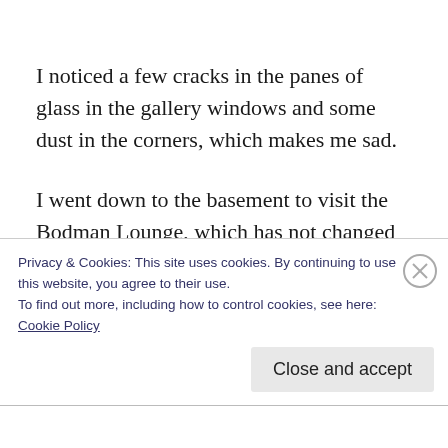I noticed a few cracks in the panes of glass in the gallery windows and some dust in the corners, which makes me sad.
I went down to the basement to visit the Bodman Lounge, which has not changed very much. I had memories of being there dressing
Privacy & Cookies: This site uses cookies. By continuing to use this website, you agree to their use.
To find out more, including how to control cookies, see here:
Cookie Policy
Close and accept